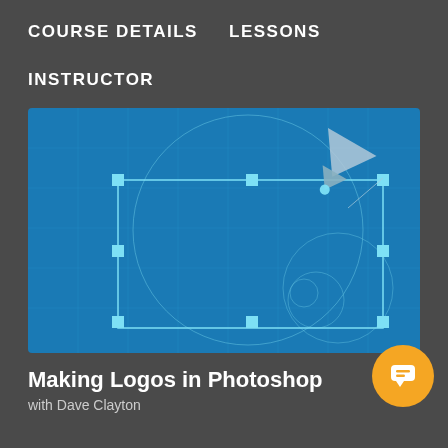COURSE DETAILS    LESSONS
INSTRUCTOR
[Figure (screenshot): Blue course thumbnail image showing Photoshop pen tool on a blueprint-style background with geometric shapes and spiral guide lines]
Making Logos in Photoshop
with Dave Clayton